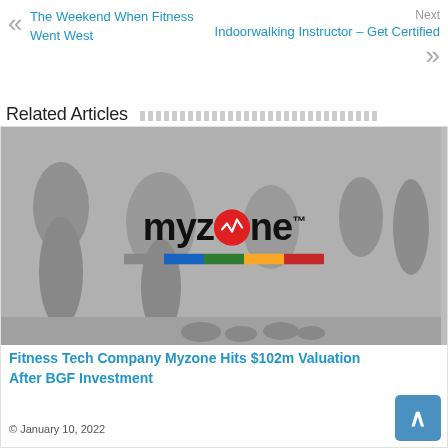« The Weekend When Fitness Went West
Next
Indoorwalking Instructor – Get Certified »
Related Articles
[Figure (photo): Gym scene with people exercising, overlaid with the Myzone logo (colorful wordmark with red circle O, and color bar below in gray, blue, green, yellow, red)]
Fitness Tech Company Myzone Hits $102m Valuation After BGF Investment
© January 10, 2022